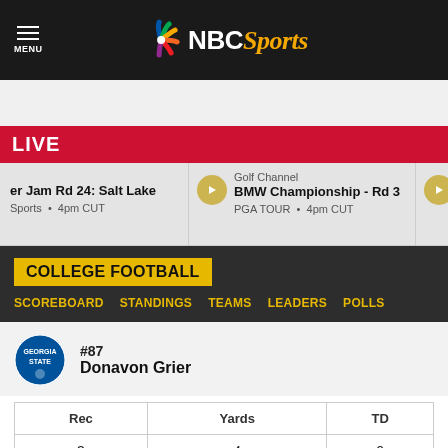[Figure (logo): NBC Sports logo with peacock icon on dark header bar with MENU icon]
LIVE
Golf Channel | BMW Championship - Rd 3 | PGA TOUR • 4pm CUT
NBC | Bournemouth | Premier League
COLLEGE FOOTBALL
SCOREBOARD
STANDINGS
TEAMS
LEADERS
POLLS
#87
Donavon Grier
| Rec | Yards | TD |
| --- | --- | --- |
| 3 | 4 | 0 |
Team: Georgia State Panthers